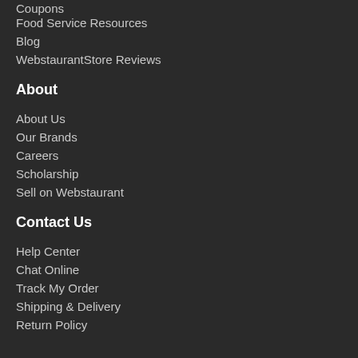Coupons
Food Service Resources
Blog
WebstaurantStore Reviews
About
About Us
Our Brands
Careers
Scholarship
Sell on Webstaurant
Contact Us
Help Center
Chat Online
Track My Order
Shipping & Delivery
Return Policy
Privacy & Use
Terms of Sale